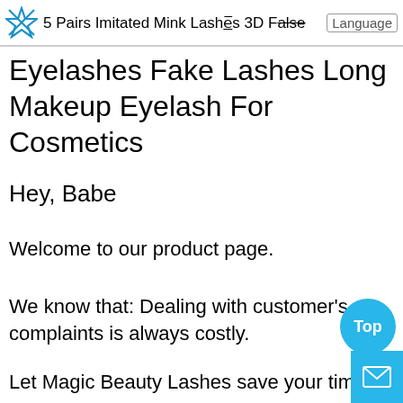5 Pairs Imitated Mink Lashes 3D False Language
Eyelashes Fake Lashes Long Makeup Eyelash For Cosmetics
Hey, Babe
Welcome to our product page.
We know that: Dealing with customer's complaints is always costly.
Let Magic Beauty Lashes save your time and cos…